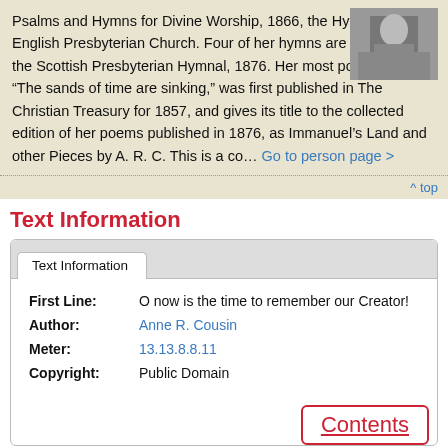Psalms and Hymns for Divine Worship, 1866, the Hymnal of the English Presbyterian Church. Four of her hymns are included in the Scottish Presbyterian Hymnal, 1876. Her most popular hymn, “The sands of time are sinking,” was first published in The Christian Treasury for 1857, and gives its title to the collected edition of her poems published in 1876, as Immanuel’s Land and other Pieces by A. R. C. This is a co… Go to person page >
[Figure (photo): Black and white photograph of a person, positioned in the upper right corner of the top section.]
^ top
Text Information
| First Line: | O now is the time to remember our Creator! |
| Author: | Anne R. Cousin |
| Meter: | 13.13.8.8.11 |
| Copyright: | Public Domain |
Contents  ^^ top